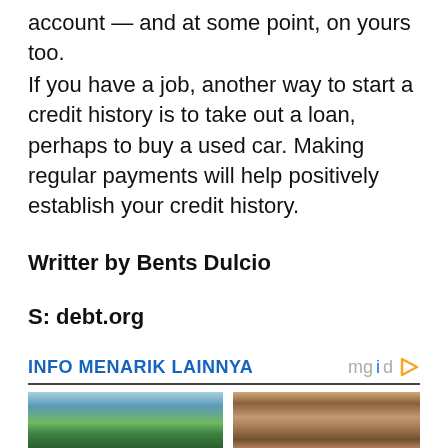account — and at some point, on yours too.
If you have a job, another way to start a credit history is to take out a loan, perhaps to buy a used car. Making regular payments will help positively establish your credit history.
Writter by Bents Dulcio
S: debt.org
INFO MENARIK LAINNYA
[Figure (photo): Aerial photo of a landscape with water, greenery and structures]
[Figure (photo): Portrait photo of a woman taking a selfie in a mirror]